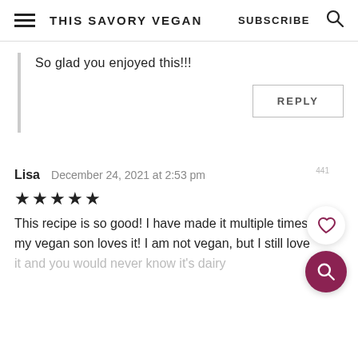THIS SAVORY VEGAN  SUBSCRIBE
So glad you enjoyed this!!!
REPLY
Lisa  December 24, 2021 at 2:53 pm  441
★★★★★
This recipe is so good! I have made it multiple times and my vegan son loves it! I am not vegan, but I still love it and you would never know it's dairy